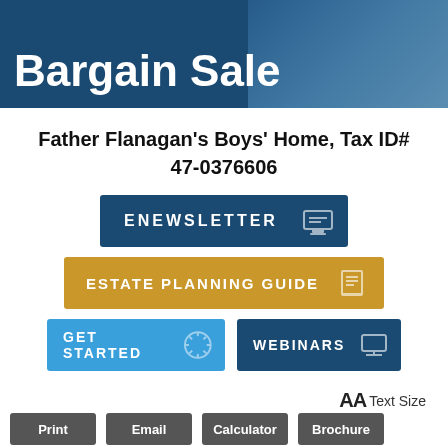Bargain Sale
Father Flanagan's Boys' Home, Tax ID# 47-0376606
[Figure (infographic): ENEWSLETTER button (dark blue) with mobile device icon]
[Figure (infographic): ESTATE PLANNING GUIDE button (gold/yellow) with book icon]
[Figure (infographic): GET STARTED button (light blue) with compass/star icon, and WEBINARS button (dark blue) with monitor icon]
AA Text Size
Print   Email   Calculator   Brochure